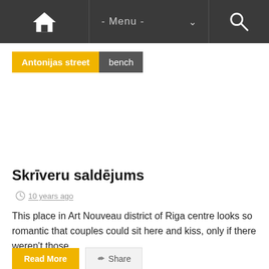Home | - Menu - | Search
Antonijas street  bench
Skrīveru saldējums
10 years ago
This place in Art Nouveau district of Riga centre looks so romantic that couples could sit here and kiss, only if there weren't those...
Read More  Share